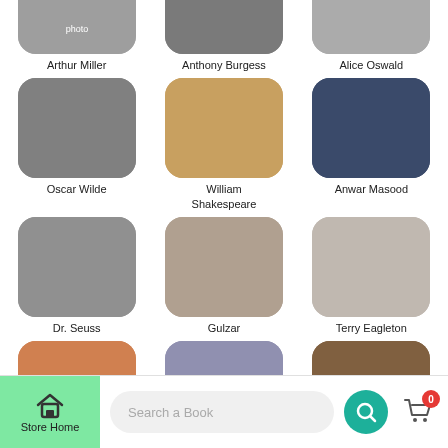[Figure (screenshot): Mobile app grid of author photos: Row 1 (partial): Arthur Miller, Anthony Burgess, Alice Oswald. Row 2: Oscar Wilde, William Shakespeare, Anwar Masood. Row 3: Dr. Seuss, Gulzar, Terry Eagleton. Row 4 (partial): three unnamed authors.]
Arthur Miller
Anthony Burgess
Alice Oswald
Oscar Wilde
William Shakespeare
Anwar Masood
Dr. Seuss
Gulzar
Terry Eagleton
Store Home   Search a Book   0